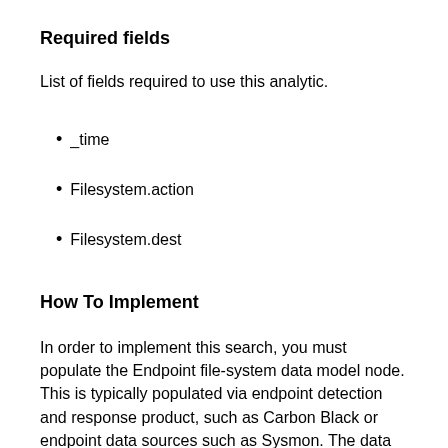Required fields
List of fields required to use this analytic.
_time
Filesystem.action
Filesystem.dest
How To Implement
In order to implement this search, you must populate the Endpoint file-system data model node. This is typically populated via endpoint detection and response product, such as Carbon Black or endpoint data sources such as Sysmon. The data used for this search is typically generated via logs that report reads and writes to the file system.